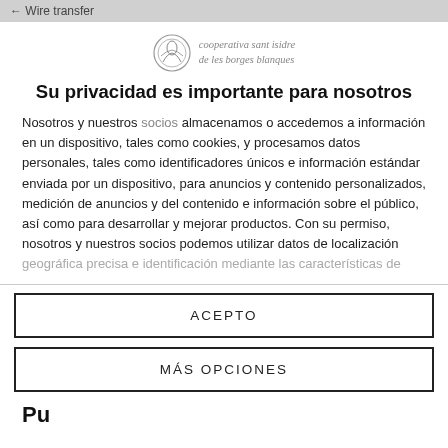Wire transfer
[Figure (logo): Cooperativa Sant Isidre de les Borges Blanques logo with circular emblem and italic text]
Su privacidad es importante para nosotros
Nosotros y nuestros socios almacenamos o accedemos a información en un dispositivo, tales como cookies, y procesamos datos personales, tales como identificadores únicos e información estándar enviada por un dispositivo, para anuncios y contenido personalizados, medición de anuncios y del contenido e información sobre el público, así como para desarrollar y mejorar productos. Con su permiso, nosotros y nuestros socios podemos utilizar datos de localización geográfica precisa e identificación mediante las características de
ACEPTO
MÁS OPCIONES
Pu...